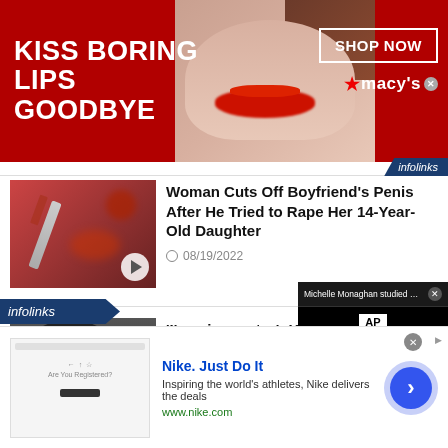[Figure (photo): Macy's advertisement banner with text 'KISS BORING LIPS GOODBYE', a woman's face with red lips, 'SHOP NOW' button, and Macy's logo on red background]
infolinks
[Figure (photo): Thumbnail image for news article about bloody knife, with play button overlay]
Woman Cuts Off Boyfriend's Penis After He Tried to Rape Her 14-Year-Old Daughter
08/19/2022
[Figure (photo): Thumbnail image of Kanye West in dark clothing with play button overlay and watermark text]
'I'm a innovator': Kanye West Defends Yeezy Gap 'Trash Bag' Clothing Display and Blasts Media
08/19/202...
infolinks
[Figure (screenshot): Video popup overlay showing 'Michelle Monaghan studied twins to pla...' with AP logo and Netflix branding]
[Figure (screenshot): Nike advertisement with logo, text 'Nike. Just Do It', description 'Inspiring the world's athletes, Nike delivers the deals', URL www.nike.com, and blue arrow button]